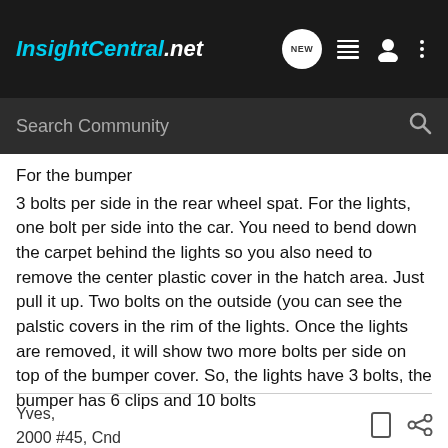[Figure (screenshot): InsightCentral.net website header with logo, navigation icons (NEW chat bubble, list, person, more dots), and a Search Community search bar on dark background]
For the bumper
3 bolts per side in the rear wheel spat. For the lights, one bolt per side into the car. You need to bend down the carpet behind the lights so you also need to remove the center plastic cover in the hatch area. Just pull it up. Two bolts on the outside (you can see the palstic covers in the rim of the lights. Once the lights are removed, it will show two more bolts per side on top of the bumper cover. So, the lights have 3 bolts, the bumper has 6 clips and 10 bolts
Yves,
2000 #45, Cnd